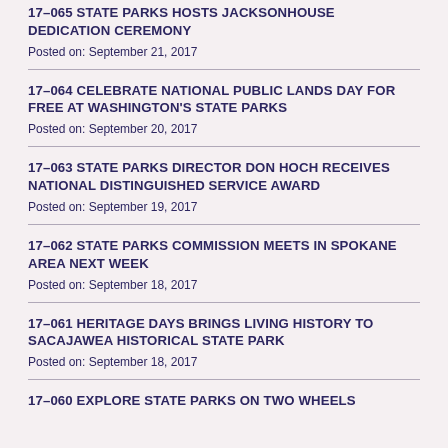17-065 STATE PARKS HOSTS JACKSONHOUSE DEDICATION CEREMONY
Posted on: September 21, 2017
17-064 CELEBRATE NATIONAL PUBLIC LANDS DAY FOR FREE AT WASHINGTON'S STATE PARKS
Posted on: September 20, 2017
17-063 STATE PARKS DIRECTOR DON HOCH RECEIVES NATIONAL DISTINGUISHED SERVICE AWARD
Posted on: September 19, 2017
17-062 STATE PARKS COMMISSION MEETS IN SPOKANE AREA NEXT WEEK
Posted on: September 18, 2017
17-061 HERITAGE DAYS BRINGS LIVING HISTORY TO SACAJAWEA HISTORICAL STATE PARK
Posted on: September 18, 2017
17-060 EXPLORE STATE PARKS ON TWO WHEELS